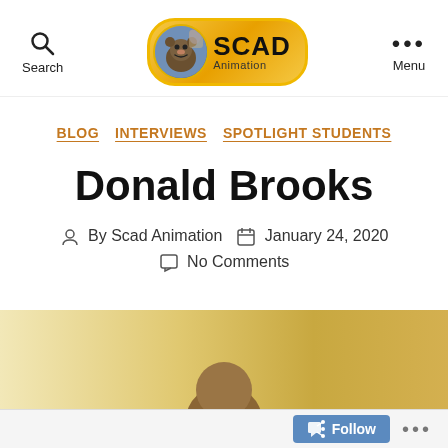[Figure (logo): SCAD Animation logo with bear mascot character in a golden/orange rounded rectangle badge with text 'SCAD Animation']
Search
Menu
BLOG   INTERVIEWS   SPOTLIGHT STUDENTS
Donald Brooks
By Scad Animation   January 24, 2020
No Comments
[Figure (photo): Partial view of a person's head/silhouette against a warm golden/sandy background, cropped at bottom of page]
Follow